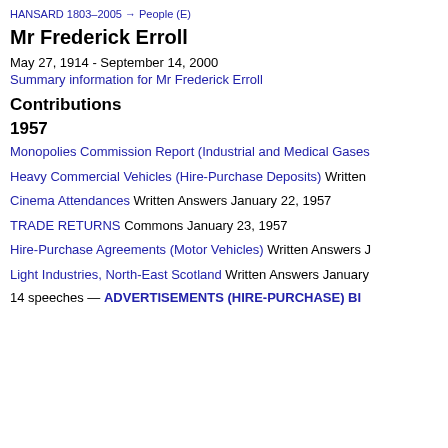HANSARD 1803–2005 → People (E)
Mr Frederick Erroll
May 27, 1914 - September 14, 2000
Summary information for Mr Frederick Erroll
Contributions
1957
Monopolies Commission Report (Industrial and Medical Gases
Heavy Commercial Vehicles (Hire-Purchase Deposits) Written
Cinema Attendances Written Answers January 22, 1957
TRADE RETURNS Commons January 23, 1957
Hire-Purchase Agreements (Motor Vehicles) Written Answers J
Light Industries, North-East Scotland Written Answers January
14 speeches — ADVERTISEMENTS (HIRE-PURCHASE) BI